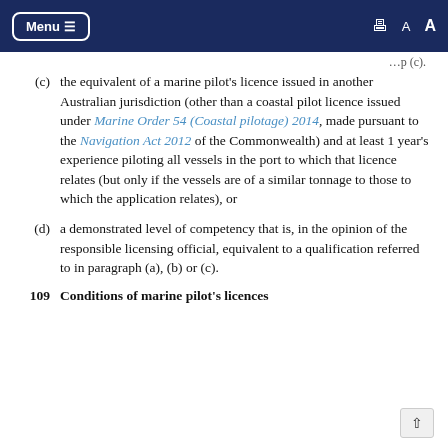Menu ≡   [print] A A
…p(c).
(c) the equivalent of a marine pilot's licence issued in another Australian jurisdiction (other than a coastal pilot licence issued under Marine Order 54 (Coastal pilotage) 2014, made pursuant to the Navigation Act 2012 of the Commonwealth) and at least 1 year's experience piloting all vessels in the port to which that licence relates (but only if the vessels are of a similar tonnage to those to which the application relates), or
(d) a demonstrated level of competency that is, in the opinion of the responsible licensing official, equivalent to a qualification referred to in paragraph (a), (b) or (c).
109   Conditions of marine pilot's licences